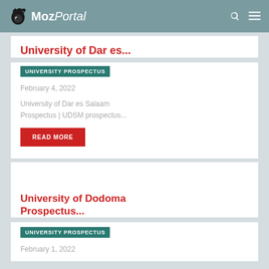MozPortal
University of Dar es...
UNIVERSITY PROSPECTUS
February 4, 2022
University of Dar es Salaam Prospectus | UDSM prospectus...
READ MORE
University of Dodoma Prospectus...
UNIVERSITY PROSPECTUS
February 1, 2022